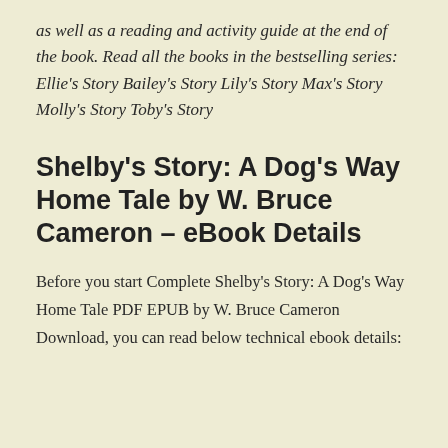as well as a reading and activity guide at the end of the book. Read all the books in the bestselling series: Ellie's Story Bailey's Story Lily's Story Max's Story Molly's Story Toby's Story
Shelby's Story: A Dog's Way Home Tale by W. Bruce Cameron – eBook Details
Before you start Complete Shelby's Story: A Dog's Way Home Tale PDF EPUB by W. Bruce Cameron Download, you can read below technical ebook details: